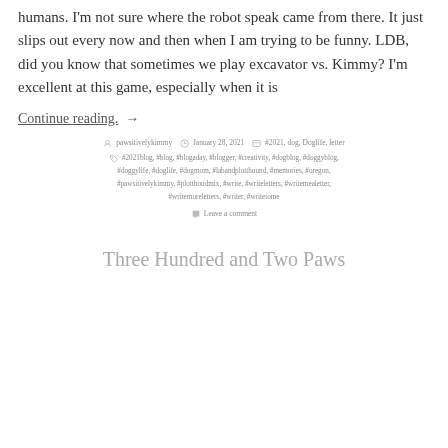humans. I'm not sure where the robot speak came from there. It just slips out every now and then when I am trying to be funny. LDB, did you know that sometimes we play excavator vs. Kimmy? I'm excellent at this game, especially when it is
Continue reading. →
Posted by pawsitivelykimmy   January 28, 2021   #2021, dog, Doglife, letter   #2021blog, #blog, #blogaday, #blogger, #creativity, #dogblog, #doggyblog, #doggylife, #doglife, #dogmom, #labandplotthound, #memories, #oregon, #pawsitivelykimmy, #plotthoudmix, #write, #writeletters, #writemealetter, #writemoreletters, #writer, #writetome   Leave a comment
Three Hundred and Two Paws